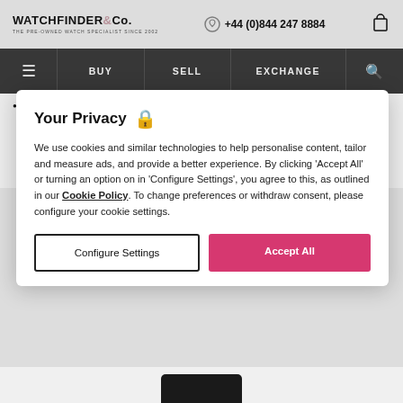WATCHFINDER & Co. THE PRE-OWNED WATCH SPECIALIST SINCE 2002 | +44 (0)844 247 8884
BUY | SELL | EXCHANGE
••• > 177136
Bvlgari
Octo
102717 BGO41C3SLR/MAS
Your Privacy 🔒 We use cookies and similar technologies to help personalise content, tailor and measure ads, and provide a better experience. By clicking 'Accept All' or turning an option on in 'Configure Settings', you agree to this, as outlined in our Cookie Policy. To change preferences or withdraw consent, please configure your cookie settings.
Configure Settings | Accept All